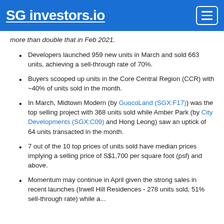SG investors.io
more than double that in Feb 2021.
Developers launched 959 new units in March and sold 663 units, achieving a sell-through rate of 70%.
Buyers scooped up units in the Core Central Region (CCR) with ~40% of units sold in the month.
In March, Midtown Modern (by GuocoLand (SGX:F17)) was the top selling project with 368 units sold while Amber Park (by City Developments (SGX:C09) and Hong Leong) saw an uptick of 64 units transacted in the month.
7 out of the 10 top prices of units sold have median prices implying a selling price of S$1,700 per square foot (psf) and above.
Momentum may continue in April given the strong sales in recent launches (Irwell Hill Residences - 278 units sold, 51% sell-through rate) while ...